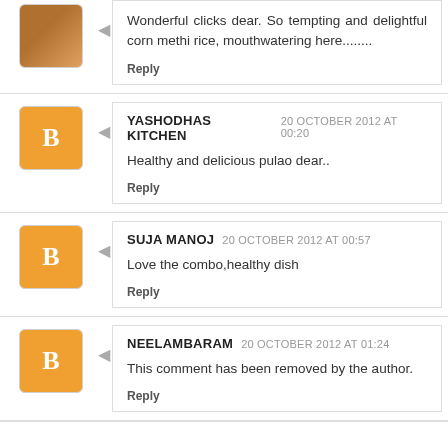Wonderful clicks dear. So tempting and delightful corn methi rice, mouthwatering here........
Reply
YASHODHAS KITCHEN  20 OCTOBER 2012 AT 00:20
Healthy and delicious pulao dear..
Reply
SUJA MANOJ  20 OCTOBER 2012 AT 00:57
Love the combo,healthy dish
Reply
NEELAMBARAM  20 OCTOBER 2012 AT 01:24
This comment has been removed by the author.
Reply